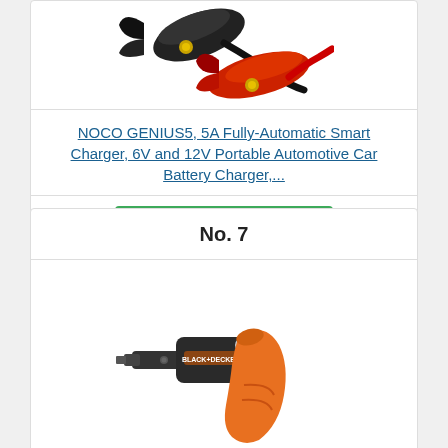[Figure (photo): NOCO battery charger clamps — black and red alligator clips with gold connectors on a white background]
NOCO GENIUS5, 5A Fully-Automatic Smart Charger, 6V and 12V Portable Automotive Car Battery Charger,...
View on Amazon
No. 7
[Figure (photo): BLACK+DECKER cordless screwdriver with orange handle and black motor/chuck, shown on white background]